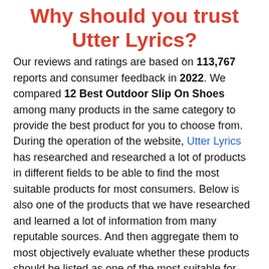Why should you trust Utter Lyrics?
Our reviews and ratings are based on 113,767 reports and consumer feedback in 2022. We compared 12 Best Outdoor Slip On Shoes among many products in the same category to provide the best product for you to choose from. During the operation of the website, Utter Lyrics has researched and researched a lot of products in different fields to be able to find the most suitable products for most consumers. Below is also one of the products that we have researched and learned a lot of information from many reputable sources. And then aggregate them to most objectively evaluate whether these products should be listed as one of the most suitable for compatible consumers, instead of offering other products. . We only evaluate and summarize really good products